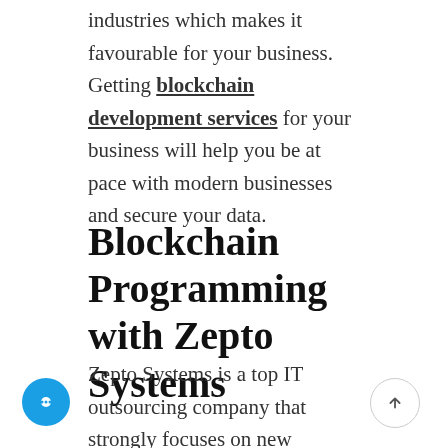industries which makes it favourable for your business. Getting blockchain development services for your business will help you be at pace with modern businesses and secure your data.
Blockchain Programming with Zepto Systems
Zepto Systems is a top IT outsourcing company that strongly focuses on new technologies and emerging trends. Leveraging the power of blockchain technology, we have gathered a team of blockchain programming experts developing, smart contracts, identity